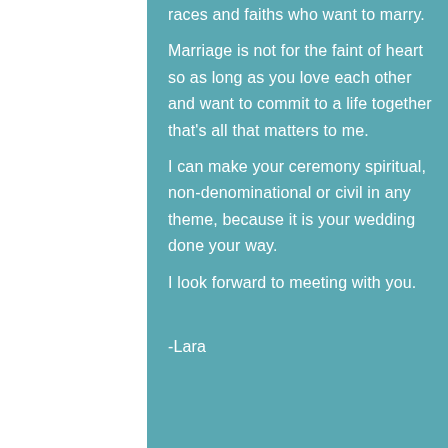races and faiths who want to marry.
Marriage is not for the faint of heart so as long as you love each other and want to commit to a life together that's all that matters to me.
I can make your ceremony spiritual, non-denominational or civil in any theme, because it is your wedding done your way.
I look forward to meeting with you.

-Lara
DOWNLOAD...